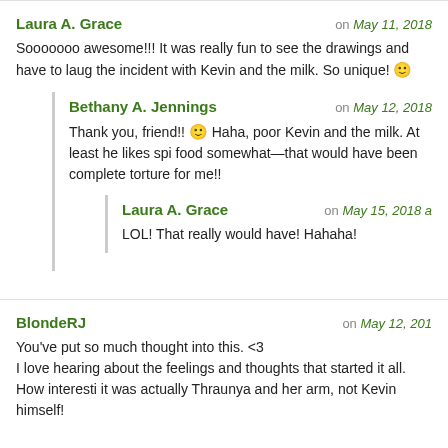Laura A. Grace — on May 11, 2018
Sooooooo awesome!!! It was really fun to see the drawings and have to laug the incident with Kevin and the milk. So unique! 🙂
Bethany A. Jennings — on May 12, 2018
Thank you, friend!! 🙂 Haha, poor Kevin and the milk. At least he likes spi food somewhat—that would have been complete torture for me!!
Laura A. Grace — on May 15, 2018 a
LOL! That really would have! Hahaha!
BlondeRJ — on May 12, 201
You've put so much thought into this. <3
I love hearing about the feelings and thoughts that started it all. How interesti it was actually Thraunya and her arm, not Kevin himself!